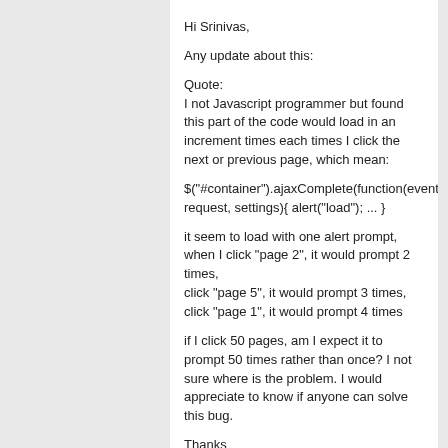Hi Srinivas,
Any update about this:
Quote:
I not Javascript programmer but found this part of the code would load in an increment times each times I click the next or previous page, which mean:
$("#container").ajaxComplete(function(event, request, settings){ alert("load"); ... }
it seem to load with one alert prompt, when I click "page 2", it would prompt 2 times,
click "page 5", it would prompt 3 times,
click "page 1", it would prompt 4 times
if I click 50 pages, am I expect it to prompt 50 times rather than once? I not sure where is the problem. I would appreciate to know if anyone can solve this bug.
Thanks
Reply